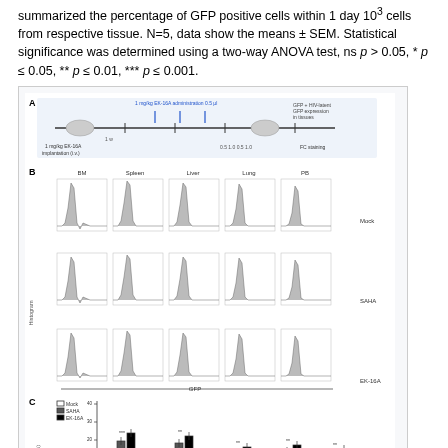summarized the percentage of GFP positive cells within 1 day 103 cells from respective tissue. N=5, data show the means ± SEM. Statistical significance was determined using a two-way ANOVA test, ns p > 0.05, * p ≤ 0.05, ** p ≤ 0.01, *** p ≤ 0.001.
[Figure (other): Multi-panel figure showing: (A) experimental timeline schematic with mouse, (B) flow cytometry GFP histograms across tissues (BM, Spleen, Liver, Lung, PB) for Mock, SAHA, and EK-16A groups, (C) bar chart showing GFP percentage in BM, Spleen, Liver, Lung, PB with significance markers.]
(View in new window)
EK-16A is an ingenol derivative that extracted from Euphorbia kansui [37]. Our prior studies have suggested that it could reactivate latent HIV by inducing both NF-κB and P-TEFb signaling pathways [38] and meanwhile inhibit HIV infection by down-regulating the expression of cell surface HIV co-receptors CCR5 and CXCR4 [39] in vitro. Here, we further advanced the research of EK-16A. EK-16A is a kind of oily compound with high